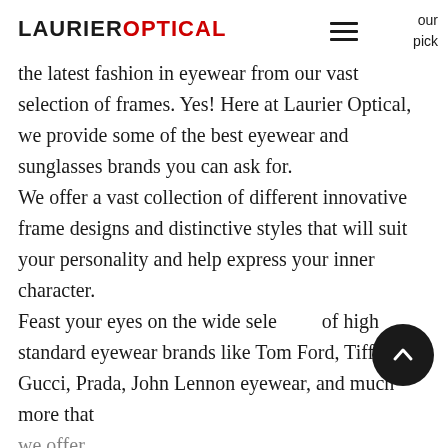LAURIER OPTICAL
the latest fashion in eyewear from our vast selection of frames. Yes! Here at Laurier Optical, we provide some of the best eyewear and sunglasses brands you can ask for. We offer a vast collection of different innovative frame designs and distinctive styles that will suit your personality and help express your inner character. Feast your eyes on the wide selection of high standard eyewear brands like Tom Ford, Tiffany, Gucci, Prada, John Lennon eyewear, and much more that we offer.